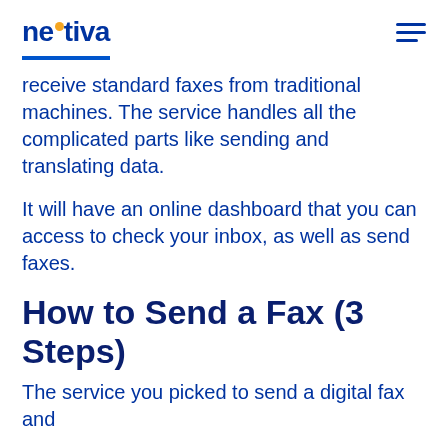nextiva
receive standard faxes from traditional machines. The service handles all the complicated parts like sending and translating data.
It will have an online dashboard that you can access to check your inbox, as well as send faxes.
How to Send a Fax (3 Steps)
The service you picked to send a digital fax and